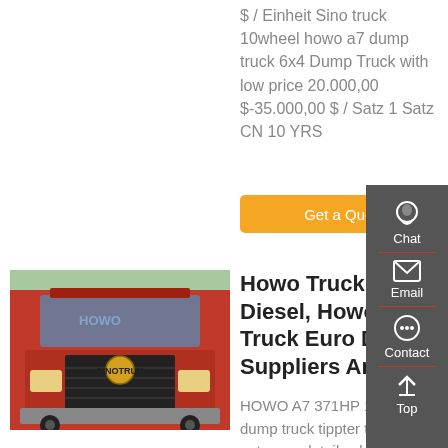$ / Einheit Sino truck 10wheel howo a7 dump truck 6x4 Dump Truck with low price 20.000,00 $-35.000,00 $ / Satz 1 Satz CN 10 YRS
Get a Quote
[Figure (photo): Front view of a red Howo truck]
Howo Truck Euro Diesel, Howo Truck Euro Diesel Suppliers And ...
HOWO A7 371HP 10-wheels dump truck tippter truck, You get more details about from